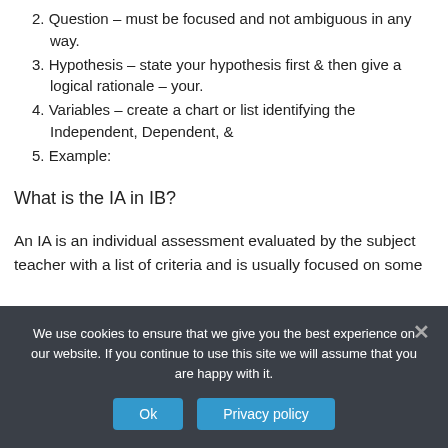2. Question – must be focused and not ambiguous in any way.
3. Hypothesis – state your hypothesis first & then give a logical rationale – your.
4. Variables – create a chart or list identifying the Independent, Dependent, &
5. Example:
What is the IA in IB?
An IA is an individual assessment evaluated by the subject teacher with a list of criteria and is usually focused on some
We use cookies to ensure that we give you the best experience on our website. If you continue to use this site we will assume that you are happy with it.